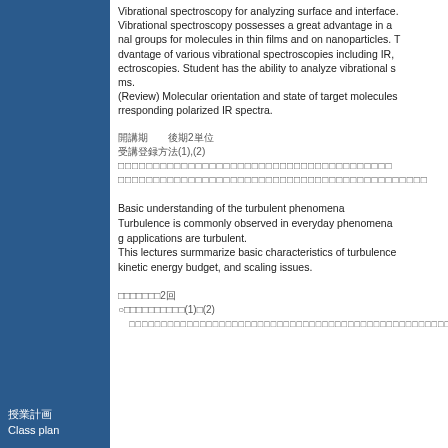Vibrational spectroscopy for analyzing surface and interface. Vibrational spectroscopy possesses a great advantage in analyzing functional groups for molecules in thin films and on nanoparticles. To make advantage of various vibrational spectroscopies including IR, Raman spectroscopies. Student has the ability to analyze vibrational spectra of thin films. (Review) Molecular orientation and state of target molecules are discussed from corresponding polarized IR spectra.
開講期　後期2単位
受講登録方法(1),(2)
（Japanese text line 1）
（Japanese text line 2）
Basic understanding of the turbulent phenomena
Turbulence is commonly observed in everyday phenomena and engineering applications are turbulent.
This lectures surmmarize basic characteristics of turbulence, turbulent kinetic energy budget, and scaling issues.
成績評価方法2回
○成績評価基準(1)と(2)
（Japanese text line）
授業計画
Class plan